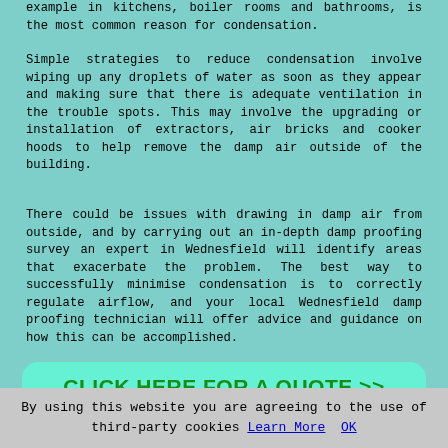example in kitchens, boiler rooms and bathrooms, is the most common reason for condensation.
Simple strategies to reduce condensation involve wiping up any droplets of water as soon as they appear and making sure that there is adequate ventilation in the trouble spots. This may involve the upgrading or installation of extractors, air bricks and cooker hoods to help remove the damp air outside of the building.
There could be issues with drawing in damp air from outside, and by carrying out an in-depth damp proofing survey an expert in Wednesfield will identify areas that exacerbate the problem. The best way to successfully minimise condensation is to correctly regulate airflow, and your local Wednesfield damp proofing technician will offer advice and guidance on how this can be accomplished.
[Figure (other): Call-to-action button with rounded rectangle background reading CLICK HERE FOR A QUOTE >>]
RISING DAMP
By using this website you are agreeing to the use of third-party cookies Learn More OK